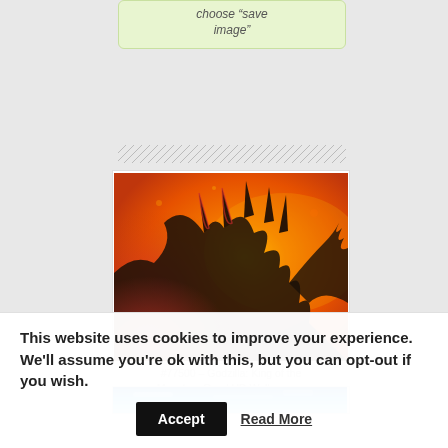choose "save image"
[Figure (photo): Godzilla: King of the Monsters — a dark orange/fiery scene showing a monster creature with spines, bathed in fiery orange-red light]
#77500 – Godzilla: King of the Monsters Quad HD Wallpaper – 2560×1440
[Figure (photo): Partial preview of another Godzilla wallpaper, showing blue sky/ice tones]
This website uses cookies to improve your experience. We'll assume you're ok with this, but you can opt-out if you wish.
Accept
Read More